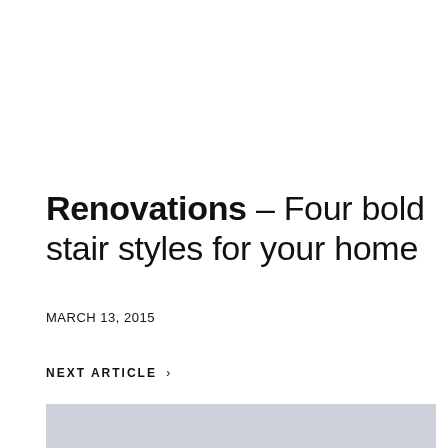Renovations – Four bold stair styles for your home
MARCH 13, 2015
NEXT ARTICLE >
[Figure (photo): Light grey/blue rectangular image placeholder at the bottom of the page]